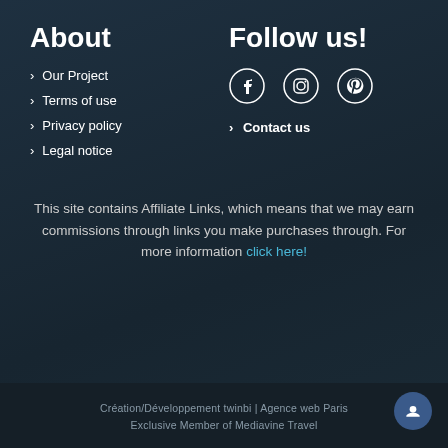About
Our Project
Terms of use
Privacy policy
Legal notice
Follow us!
[Figure (illustration): Social media icons: Facebook, Instagram, Pinterest]
Contact us
This site contains Affiliate Links, which means that we may earn commissions through links you make purchases through. For more information click here!
Création/Développement twinbi | Agence web Paris
Exclusive Member of Mediavine Travel